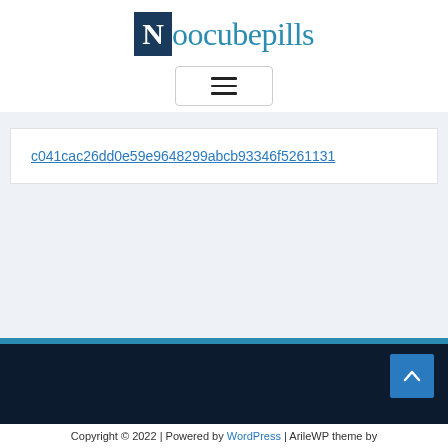[Figure (logo): Noocubepills logo: dark blue box with white N letter followed by 'oocubepills' in teal/blue serif font]
[Figure (other): Hamburger menu button with three horizontal lines inside a rounded rectangle border]
c041cac26dd0e59e9648299abcb93346f5261131
[Figure (other): Back to top arrow button in blue]
Copyright © 2022 | Powered by WordPress | ArileWP theme by